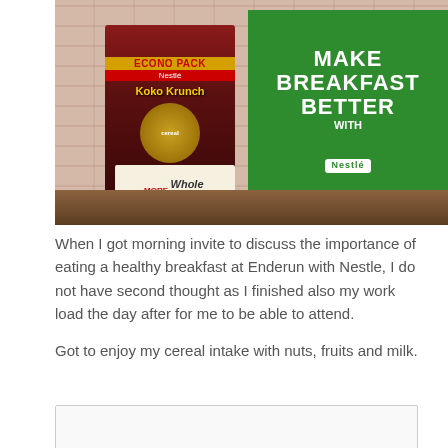[Figure (photo): Photo of a Nestle Koko Krunch Econo Pack cereal box with 'More Whole Grain' label, displayed on a wooden shelf in front of a green promotional board reading 'Make Breakfast Better with Nestle', with brick wall background.]
When I got morning invite to discuss the importance of eating a healthy breakfast at Enderun with Nestle, I do not have second thought as I finished also my work load the day after for me to be able to attend.
Got to enjoy my cereal intake with nuts, fruits and milk.